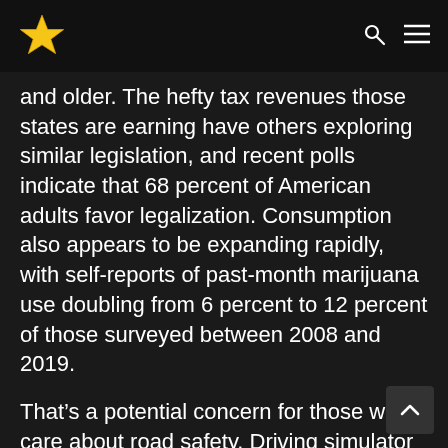[Star logo] [search icon] [menu icon]
and older. The hefty tax revenues those states are earning have others exploring similar legislation, and recent polls indicate that 68 percent of American adults favor legalization. Consumption also appears to be expanding rapidly, with self-reports of past-month marijuana use doubling from 6 percent to 12 percent of those surveyed between 2008 and 2019.
That’s a potential concern for those who care about road safety. Driving simulator tests have shown that drivers who are high on marijuana react more slowly, find it harder to pay attention, have more difficulty maintaining their car’s position in the lane